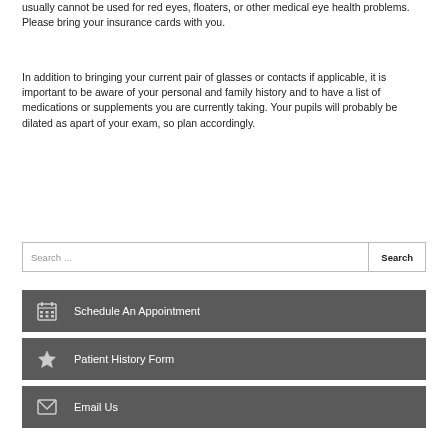usually cannot be used for red eyes, floaters, or other medical eye health problems. Please bring your insurance cards with you.
In addition to bringing your current pair of glasses or contacts if applicable, it is important to be aware of your personal and family history and to have a list of medications or supplements you are currently taking. Your pupils will probably be dilated as apart of your exam, so plan accordingly.
Search ...
Schedule An Appointment
Patient History Form
Email Us